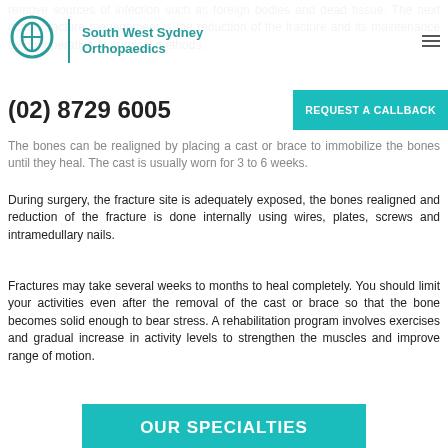South West Sydney Orthopaedics
(02) 8729 6005
REQUEST A CALLBACK
remove sources of infection such as foreign bodies and dead tissue. The next action fracture management is the reduction of the fracture and its maintenance by nonoperative or surgical methods.
The bones can be realigned by placing a cast or brace to immobilize the bones until they heal. The cast is usually worn for 3 to 6 weeks.
During surgery, the fracture site is adequately exposed, the bones realigned and reduction of the fracture is done internally using wires, plates, screws and intramedullary nails.
Fractures may take several weeks to months to heal completely. You should limit your activities even after the removal of the cast or brace so that the bone becomes solid enough to bear stress. A rehabilitation program involves exercises and gradual increase in activity levels to strengthen the muscles and improve range of motion.
OUR SPECIALTIES